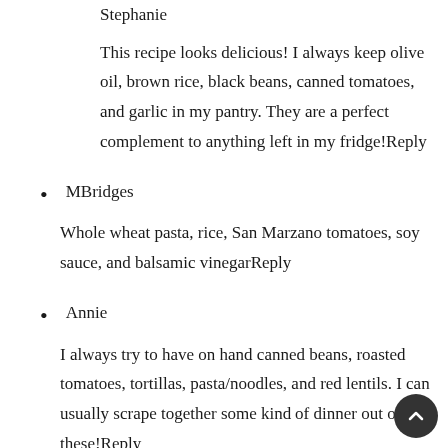Stephanie
This recipe looks delicious! I always keep olive oil, brown rice, black beans, canned tomatoes, and garlic in my pantry. They are a perfect complement to anything left in my fridge!Reply
MBridges
Whole wheat pasta, rice, San Marzano tomatoes, soy sauce, and balsamic vinegarReply
Annie
I always try to have on hand canned beans, roasted tomatoes, tortillas, pasta/noodles, and red lentils. I can usually scrape together some kind of dinner out of these!Reply